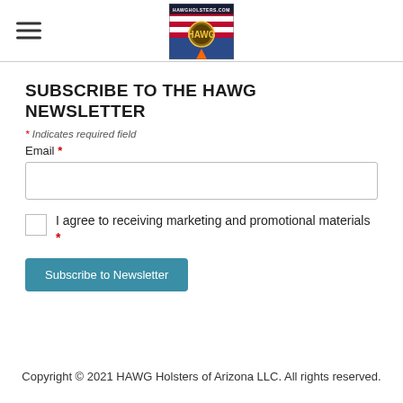[Figure (logo): HAWG Holsters website logo with Arizona flag motif and emblem]
SUBSCRIBE TO THE HAWG NEWSLETTER
* Indicates required field
Email *
I agree to receiving marketing and promotional materials *
Subscribe to Newsletter
Copyright © 2021 HAWG Holsters of Arizona LLC. All rights reserved.